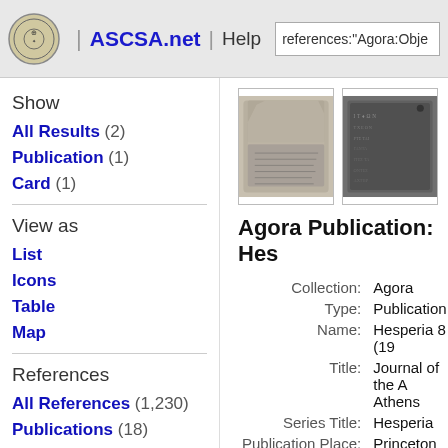ASCSA.net | Help | references:"Agora:Obje
Show
All Results (2)
Publication (1)
Card (1)
View as
List
Icons
Table
Map
References
All References (1,230)
Publications (18)
Publication Pages (480)
[Figure (photo): Two black and white photographs of ancient stone inscriptions/tablets]
Agora Publication: Hes
| Label | Value |
| --- | --- |
| Collection: | Agora |
| Type: | Publication |
| Name: | Hesperia 8 (19 |
| Title: | Journal of the A Athens |
| Series Title: | Hesperia |
| Publication Place: | Princeton |
| Publisher: | American Sch |